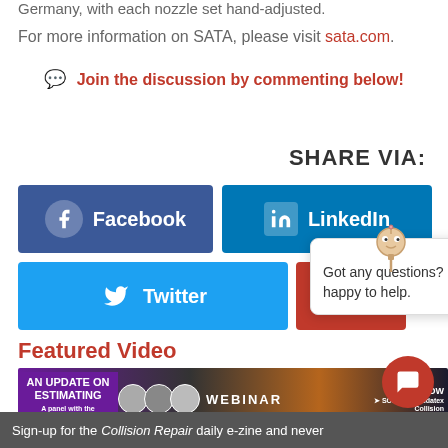Germany, with each nozzle set hand-adjusted.
For more information on SATA, please visit sata.com.
💬 Join the discussion by commenting below!
SHARE VIA:
[Figure (screenshot): Facebook share button (dark blue)]
[Figure (screenshot): LinkedIn share button (blue)]
[Figure (screenshot): Twitter share button (light blue)]
[Figure (screenshot): Red share button (partially hidden)]
Featured Video
[Figure (screenshot): Webinar banner: AN UPDATE ON ESTIMATING - A panel with the Audalex Canada team. Watch Now. Solera Audatex Collision.]
[Figure (screenshot): Chatbot popup with robot icon: Got any questions? I'm happy to help.]
Sign-up for the Collision Repair daily e-zine and never